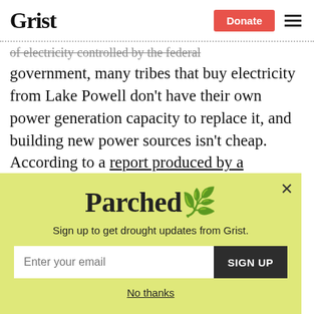Grist | Donate
of electricity controlled by the federal government, many tribes that buy electricity from Lake Powell don't have their own power generation capacity to replace it, and building new power sources isn't cheap. According to a report produced by a consulting firm looking at the impact of a Glen Canyon Dam shutdown, tribal nations
[Figure (infographic): Parched newsletter signup popup with yellow-green background. Contains 'Parched' logo/title, subtitle 'Sign up to get drought updates from Grist.', email input field, SIGN UP button, and 'No thanks' link.]